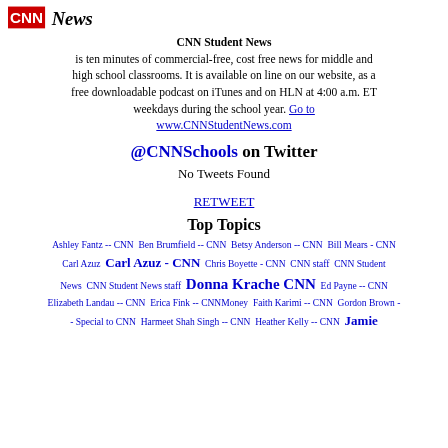[Figure (logo): CNN News logo with red CNN letters and black News text]
CNN Student News is ten minutes of commercial-free, cost free news for middle and high school classrooms. It is available on line on our website, as a free downloadable podcast on iTunes and on HLN at 4:00 a.m. ET weekdays during the school year. Go to www.CNNStudentNews.com
@CNNSchools on Twitter
No Tweets Found
RETWEET
Top Topics
Ashley Fantz -- CNN  Ben Brumfield -- CNN  Betsy Anderson -- CNN  Bill Mears - CNN  Carl Azuz  Carl Azuz - CNN  Chris Boyette - CNN  CNN staff  CNN Student News  CNN Student News staff  Donna Krache CNN  Ed Payne -- CNN  Elizabeth Landau -- CNN  Erica Fink -- CNNMoney  Faith Karimi -- CNN  Gordon Brown - - Special to CNN  Harmeet Shah Singh -- CNN  Heather Kelly -- CNN  Jamie